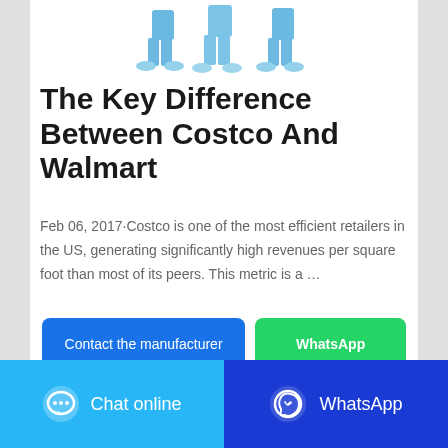[Figure (photo): Partial view of two people wearing blue medical scrubs and shoe covers, cropped at the waist]
The Key Difference Between Costco And Walmart
Feb 06, 2017·Costco is one of the most efficient retailers in the US, generating significantly high revenues per square foot than most of its peers. This metric is a …
Contact the manufacturer
WhatsApp
Chat online
WhatsApp